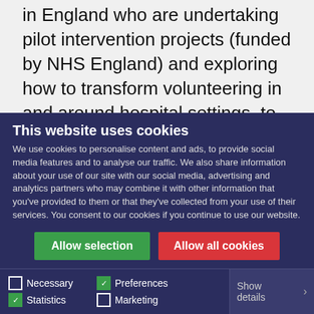in England who are undertaking pilot intervention projects (funded by NHS England) and exploring how to transform volunteering in and around hospital settings, to increase the impact on patients, staff, services as well as on volunteers themselves.
The experience of these projects and partners, together with their input to valuable…
back
This website uses cookies
We use cookies to personalise content and ads, to provide social media features and to analyse our traffic. We also share information about your use of our site with our social media, advertising and analytics partners who may combine it with other information that you've provided to them or that they've collected from your use of their services. You consent to our cookies if you continue to use our website.
Allow selection | Allow all cookies
Necessary | Preferences | Statistics | Marketing | Show details